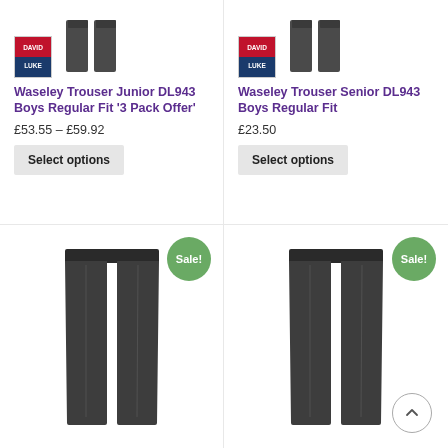[Figure (photo): David Luke logo and two dark grey school trousers product image, top left]
Waseley Trouser Junior DL943 Boys Regular Fit '3 Pack Offer'
£53.55 – £59.92
Select options
[Figure (photo): David Luke logo and two dark grey school trousers product image, top right]
Waseley Trouser Senior DL943 Boys Regular Fit
£23.50
Select options
[Figure (photo): Dark grey school trousers, bottom left, with Sale! badge]
[Figure (photo): Dark grey school trousers, bottom right, with Sale! badge]